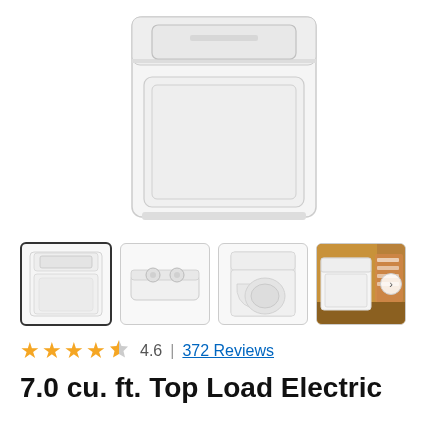[Figure (photo): Main product image of a white Whirlpool top-load electric dryer, front view from top, showing the top panel with control knobs and a large square lint trap door.]
[Figure (photo): Row of four product thumbnail images: (1) front view of white dryer - selected/highlighted, (2) top view of dryer showing control panel with two rotary knobs, (3) front view dryer with door open, (4) dryer in a laundry room setting with a navigation arrow.]
4.6  |  372 Reviews
7.0 cu. ft. Top Load Electric